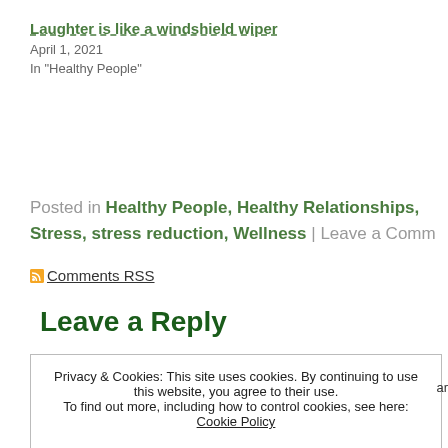Laughter is like a windshield wiper
April 1, 2021
In "Healthy People"
Posted in Healthy People, Healthy Relationships, Stress, stress reduction, Wellness | Leave a Comment
Comments RSS
Leave a Reply
Privacy & Cookies: This site uses cookies. By continuing to use this website, you agree to their use.
To find out more, including how to control cookies, see here: Cookie Policy
Close and accept